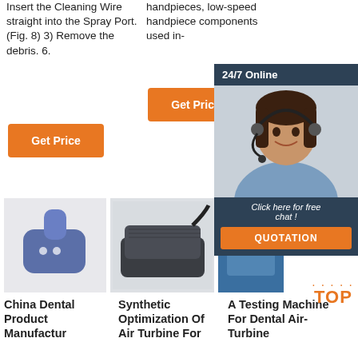Insert the Cleaning Wire straight into the Spray Port. (Fig. 8) 3) Remove the debris. 6.
handpieces, low-speed handpiece components used in-
[Figure (other): Orange 'Get Price' button]
[Figure (other): Orange 'Get Price' button]
[Figure (photo): 24/7 Online customer service representative wearing headset, with 'Click here for free chat!' text and orange QUOTATION button]
[Figure (photo): Blue dental device/sensor product photo]
[Figure (photo): Dark grey foot pedal device product photo]
[Figure (photo): Partially visible blue product photo]
China Dental Product Manufactur
Synthetic Optimization Of Air Turbine For
A Testing Machine For Dental Air-Turbine